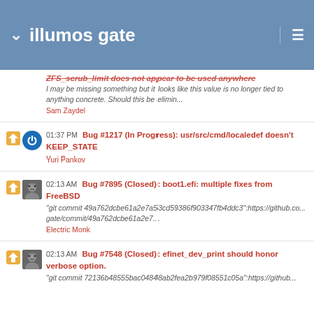illumos gate
ZFS_scrub_limit does not appear to be used anywhere
I may be missing something but it looks like this value is no longer tied to anything concrete. Should this be elimin...
Sam Zaydel
01:37 PM Bug #1217 (In Progress): usr/src/cmd/localedef doesn't KEEP_STATE
Yuri Pankov
02:13 AM Bug #7895 (Closed): boot1.efi: multiple fixes from FreeBSD
"git commit 49a762dcbe61a2e7a53cd59386f903347fb4ddc3":https://github.co... gate/commit/49a762dcbe61a2e7...
Electric Monk
02:13 AM Bug #7548 (Closed): efinet_dev_print should honor verbose option.
"git commit 72136b48555bac04848ab2fea2b979f08551c05a":https://github...